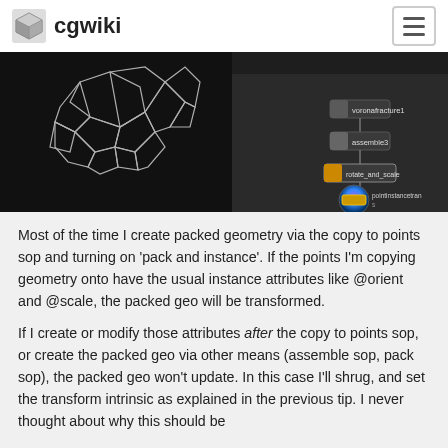cgwiki
[Figure (screenshot): Screenshot of a 3D viewport showing packed geometry (white polygon shapes on black background showing 57fps / 17.46ms) alongside a Houdini node network with voronofracture1, assemble3, rotate_and_scale nodes and a VEXpression showing setprimintrinsic(0, 'po...]
Most of the time I create packed geometry via the copy to points sop and turning on 'pack and instance'. If the points I'm copying geometry onto have the usual instance attributes like @orient and @scale, the packed geo will be transformed.
If I create or modify those attributes after the copy to points sop, or create the packed geo via other means (assemble sop, pack sop), the packed geo won't update. In this case I'll shrug, and set the transform intrinsic as explained in the previous tip. I never thought about why this should be